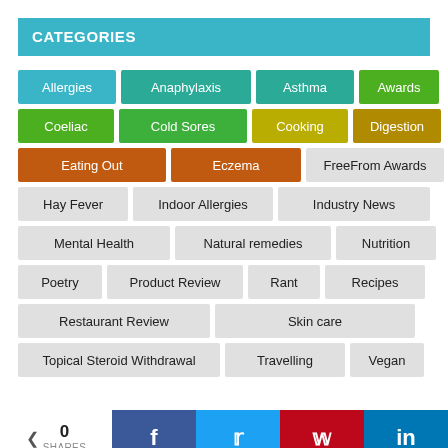CATEGORIES
Allergies
Anaphylaxis
Asthma
Awards
Coeliac
Cold Sores
Cooking
Digestion
Eating Out
Eczema
FreeFrom Awards
Hay Fever
Indoor Allergies
Industry News
Mental Health
Natural remedies
Nutrition
Poetry
Product Review
Rant
Recipes
Restaurant Review
Skin care
Topical Steroid Withdrawal
Travelling
Vegan
0 SHARES  f  t  p  in